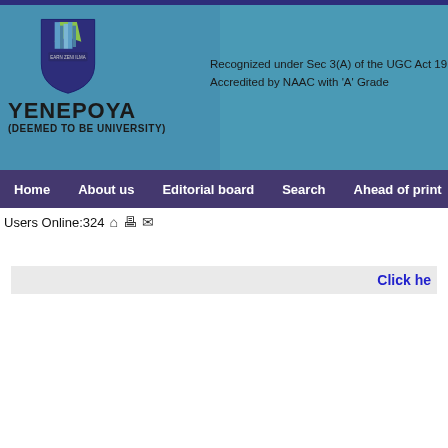[Figure (logo): Yenepoya (Deemed to be University) logo with emblem and university name]
Recognized under Sec 3(A) of the UGC Act 19
Accredited by NAAC with 'A' Grade
Home   About us   Editorial board   Search   Ahead of print   Curr
Users Online:324
Click he